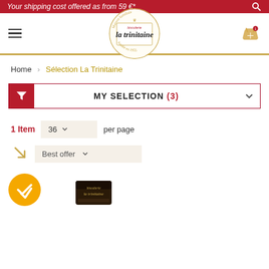Your shipping cost offered as from 59 €*
[Figure (logo): La Trinitaine biscuiterie logo - circular badge with text Maison familiale, fondée en 1955]
Home > Sélection La Trinitaine
MY SELECTION (3)
1 Item   36 per page
Best offer
[Figure (photo): Product tin partially visible at bottom of page with yellow circular checkmark badge]